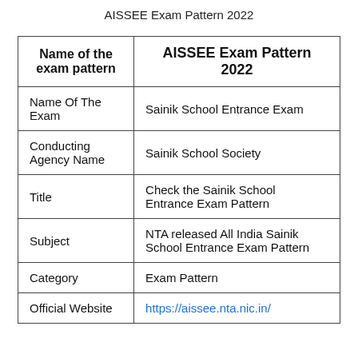AISSEE Exam Pattern 2022
| Name of the exam pattern | AISSEE Exam Pattern 2022 |
| --- | --- |
| Name Of The Exam | Sainik School Entrance Exam |
| Conducting Agency Name | Sainik School Society |
| Title | Check the Sainik School Entrance Exam Pattern |
| Subject | NTA released All India Sainik School Entrance Exam Pattern |
| Category | Exam Pattern |
| Official Website | https://aissee.nta.nic.in/ |